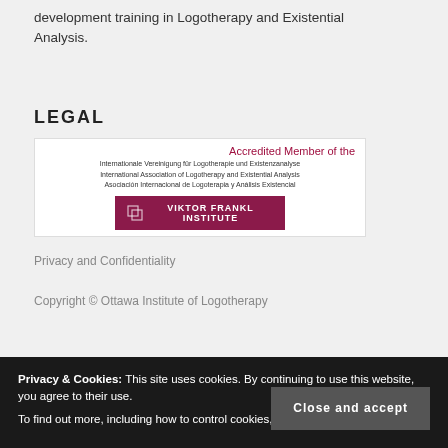development training in Logotherapy and Existential Analysis.
LEGAL
[Figure (logo): Accredited Member of the Internationale Vereinigung für Logotherapie und Existenzanalyse / International Association of Logotherapy and Existential Analysis / Asociación Internacional de Logoterapia y Análisis Existencial — Viktor Frankl Institute logo]
Privacy and Confidentiality
Copyright © Ottawa Institute of Logotherapy
Privacy & Cookies: This site uses cookies. By continuing to use this website, you agree to their use.
To find out more, including how to control cookies, see here: Cookie Policy
Close and accept